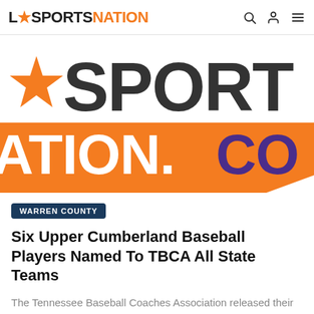LC SPORTS NATION
[Figure (logo): LCSportsNation.com website logo displayed as large cropped banner image showing orange star, dark block letters spelling LCSPORTS and orange banner with white text ATION.COM and purple dot]
WARREN COUNTY
Six Upper Cumberland Baseball Players Named To TBCA All State Teams
The Tennessee Baseball Coaches Association released their All State teams today and six players from ...